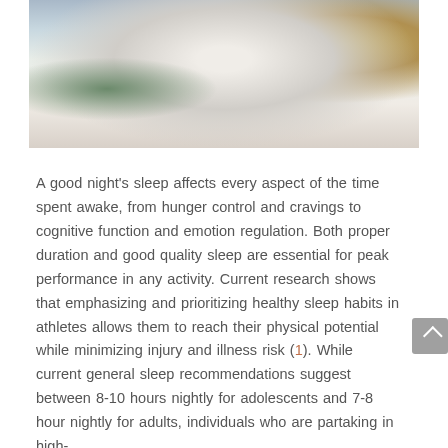[Figure (photo): Photograph of a person lying in bed with white bedding, a green plant on a bedside table on the left, and a door handle visible on the right.]
A good night's sleep affects every aspect of the time spent awake, from hunger control and cravings to cognitive function and emotion regulation. Both proper duration and good quality sleep are essential for peak performance in any activity. Current research shows that emphasizing and prioritizing healthy sleep habits in athletes allows them to reach their physical potential while minimizing injury and illness risk (1). While current general sleep recommendations suggest between 8-10 hours nightly for adolescents and 7-8 hour nightly for adults, individuals who are partaking in high-